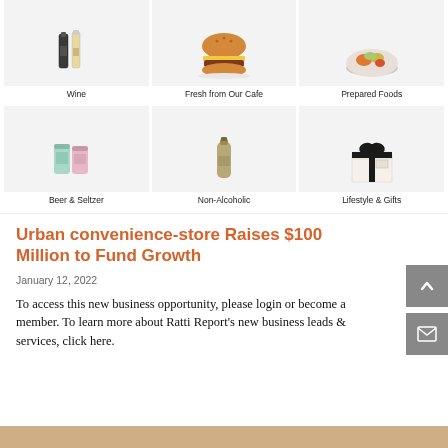[Figure (photo): Product category grid row 1: Wine (two bottles), Fresh from Our Cafe (burger), Prepared Foods (bowl of food)]
Wine
Fresh from Our Cafe
Prepared Foods
[Figure (photo): Product category grid row 2: Beer & Seltzer (cans), Non-Alcoholic (bottle), Lifestyle & Gifts (gift box)]
Beer & Seltzer
Non-Alcoholic
Lifestyle & Gifts
Urban convenience-store Raises $100 Million to Fund Growth
January 12, 2022
To access this new business opportunity, please login or become a member. To learn more about Ratti Report's new business leads & services, click here.